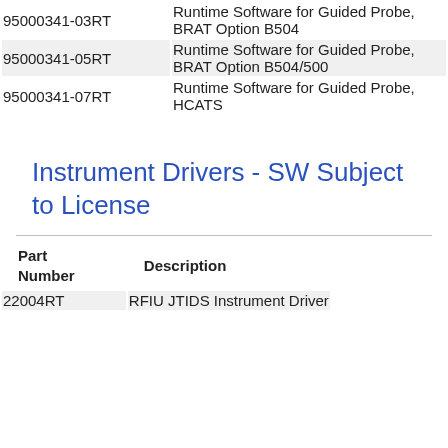| Part Number | Description |
| --- | --- |
| 95000341-03RT | Runtime Software for Guided Probe, BRAT Option B504 |
| 95000341-05RT | Runtime Software for Guided Probe, BRAT Option B504/500 |
| 95000341-07RT | Runtime Software for Guided Probe, HCATS |
Instrument Drivers - SW Subject to License
| Part Number | Description |
| --- | --- |
| 22004RT | RFIU JTIDS Instrument Driver |